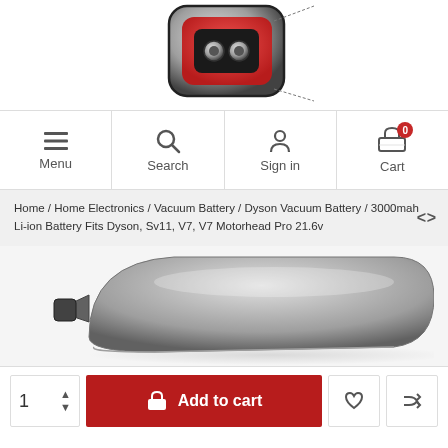[Figure (photo): Top portion of a Dyson vacuum battery product, red and silver/chrome colored, shown from above at an angle.]
[Figure (infographic): Website navigation bar with four options: Menu (hamburger icon), Search (magnifying glass icon), Sign in (person icon), Cart (cart icon with red badge showing 0).]
Home / Home Electronics / Vacuum Battery / Dyson Vacuum Battery / 3000mah Li-ion Battery Fits Dyson, Sv11, V7, V7 Motorhead Pro 21.6v
[Figure (photo): Gray/silver Dyson vacuum battery unit photographed from the side, showing its curved top profile and connection port on the left side.]
[Figure (infographic): Add to cart bar: quantity selector showing 1 with up/down arrows, red Add to cart button with shopping basket icon, heart/wishlist icon button, and shuffle icon button.]